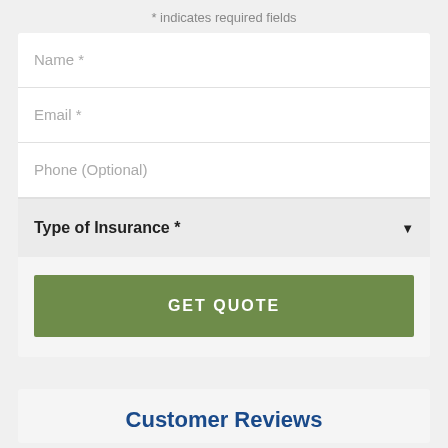* indicates required fields
Name *
Email *
Phone (Optional)
Type of Insurance *
GET QUOTE
Customer Reviews